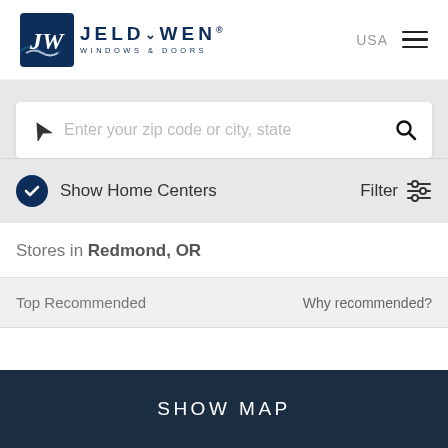[Figure (logo): JELD-WEN Windows & Doors logo with JW monogram in dark blue box]
USA ≡
[Figure (screenshot): Search bar with location arrow icon, placeholder text 'Enter your zip code or city, state', and search magnifying glass icon]
✓ Show Home Centers   Filter ⚙
Stores in Redmond, OR
Top Recommended   Why recommended?
SHOW MAP